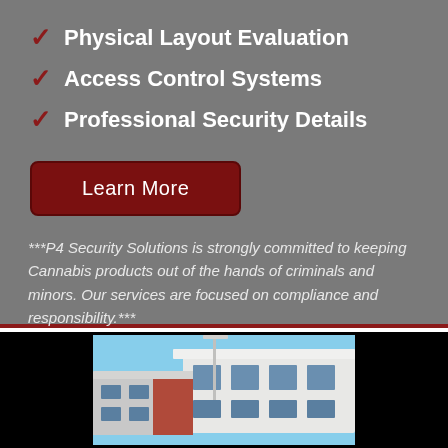Physical Layout Evaluation
Access Control Systems
Professional Security Details
Learn More
***P4 Security Solutions is strongly committed to keeping Cannabis products out of the hands of criminals and minors. Our services are focused on compliance and responsibility.***
[Figure (photo): Photo of a commercial building exterior with blue sky background, white and brick facade]